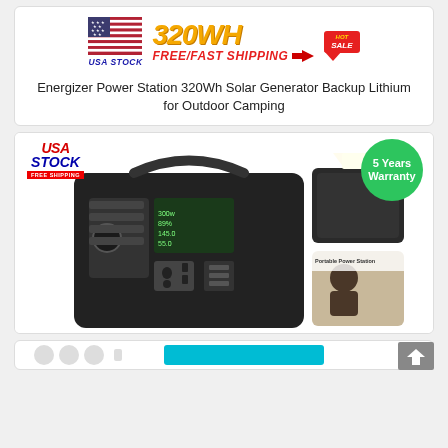[Figure (photo): Product listing card 1: USA Stock flag logo on left, '320WH FREE/FAST SHIPPING' banner in center with HOT SALE badge on right]
Energizer Power Station 320Wh Solar Generator Backup Lithium for Outdoor Camping
[Figure (photo): Product listing card 2: USA STOCK FREE SHIPPING badge top-left, 5 Years Warranty green circle badge top-right, large photo of black portable power station device with LCD display and multiple ports, smaller product images on right]
[Figure (photo): Partial third product listing card at bottom of page, partially visible with teal banner and icons]